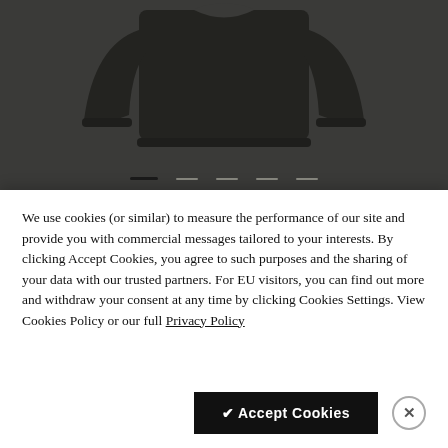[Figure (photo): Top section showing a dark sweater/hoodie on a dark grey background, with image carousel navigation dots below and the PANGAIA brand name]
We use cookies (or similar) to measure the performance of our site and provide you with commercial messages tailored to your interests. By clicking Accept Cookies, you agree to such purposes and the sharing of your data with our trusted partners. For EU visitors, you can find out more and withdraw your consent at any time by clicking Cookies Settings. View Cookies Policy or our full Privacy Policy